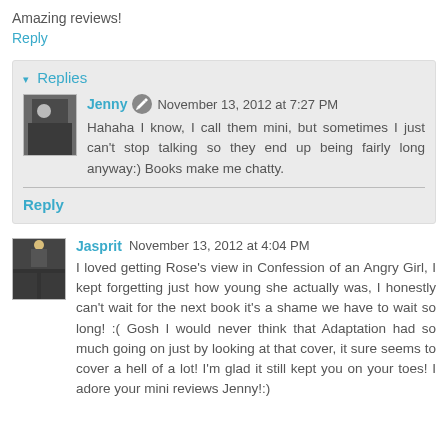Amazing reviews!
Reply
▾ Replies
Jenny  November 13, 2012 at 7:27 PM
Hahaha I know, I call them mini, but sometimes I just can't stop talking so they end up being fairly long anyway:) Books make me chatty.
Reply
Jasprit  November 13, 2012 at 4:04 PM
I loved getting Rose's view in Confession of an Angry Girl, I kept forgetting just how young she actually was, I honestly can't wait for the next book it's a shame we have to wait so long! :( Gosh I would never think that Adaptation had so much going on just by looking at that cover, it sure seems to cover a hell of a lot! I'm glad it still kept you on your toes! I adore your mini reviews Jenny!:)